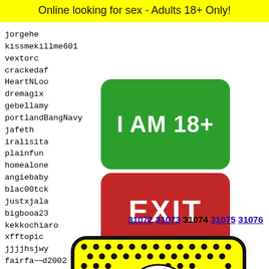Online looking for sex - Adults 18+ Only!
jorgehe
kissmekillme601
vextorc
crackedaf
HeartNLoo
dremagix
gebellamy
portlandBangNavy
jafeth
iralisita
plainfun
homealone
angiebaby
blac00tck
justxjala
bigbooa23
kekkochiaro
xfftopic
jjjjhsjwy
fairfa***d2002
gdakid
yorkl
agatha
jorgee
CandyA
bnnle
[Figure (other): Green button with text I AM 18+]
[Figure (other): Red EXIT button]
31072 31073 31074 31075 31076
[Figure (illustration): Snapchat ghost logo on yellow background with black dots pattern]